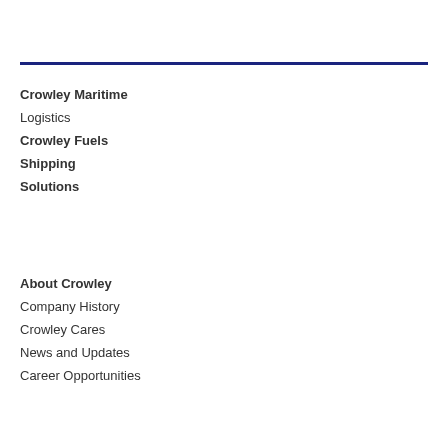Crowley Maritime
Logistics
Crowley Fuels
Shipping
Solutions
About Crowley
Company History
Crowley Cares
News and Updates
Career Opportunities